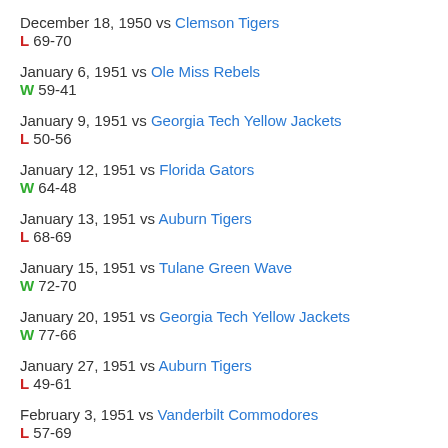December 18, 1950 vs Clemson Tigers
L 69-70
January 6, 1951 vs Ole Miss Rebels
W 59-41
January 9, 1951 vs Georgia Tech Yellow Jackets
L 50-56
January 12, 1951 vs Florida Gators
W 64-48
January 13, 1951 vs Auburn Tigers
L 68-69
January 15, 1951 vs Tulane Green Wave
W 72-70
January 20, 1951 vs Georgia Tech Yellow Jackets
W 77-66
January 27, 1951 vs Auburn Tigers
L 49-61
February 3, 1951 vs Vanderbilt Commodores
L 57-69